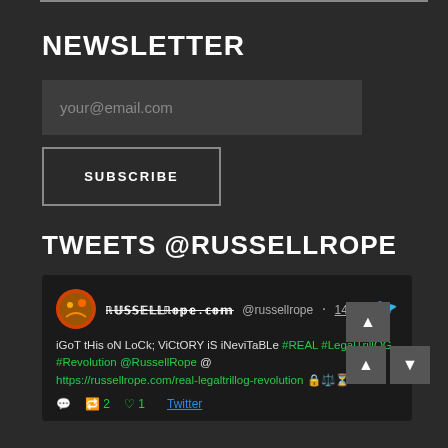NEWSLETTER
your@email.com
SUBSCRIBE
TWEETS @RUSSELLROPE
[Figure (screenshot): Embedded tweet from @russellrope showing: 'iGoT tHis oN LoCk; ViCtORY iS iNeviTaBLe #REAL #LegalTrillOG #Revolution @RussellRope @ https://russellrope.com/real-legaltrillog-revolution with emoji. 14h ago. Retweet 2, Like 1. Twitter link.']